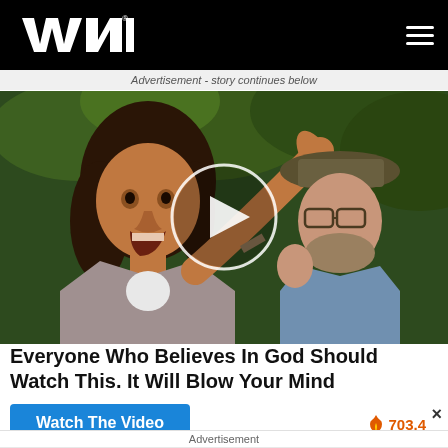WND
Advertisement - story continues below
[Figure (photo): Video thumbnail showing two people outdoors with trees in background; a circular play button overlay is centered on the image]
Everyone Who Believes In God Should Watch This. It Will Blow Your Mind
Watch The Video
703.4
×
Advertisement
[Figure (photo): Small thumbnail image of 3D street spray painting]
Insane 3D Spraying Skills Turn In Incredible Street Art